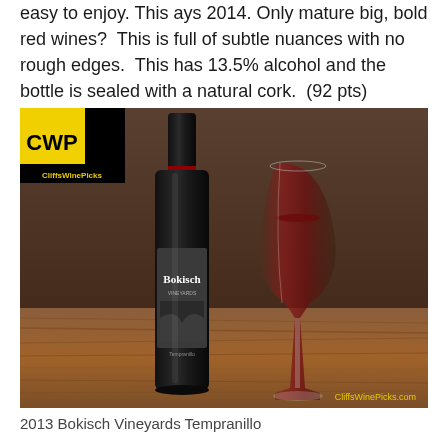easy to enjoy. This ays 2014. Only mature big, bold red wines? This is full of subtle nuances with no rough edges. This has 13.5% alcohol and the bottle is sealed with a natural cork. (92 pts)
[Figure (photo): Photo of a dark wine bottle labeled Bokisch Vineyards Tempranillo next to a wine glass containing red wine, placed on a wooden table. A CWP/CliffsWinePicks logo appears in the top-left corner and CliffsWinePicks.com watermark in the bottom-right corner.]
2013 Bokisch Vineyards Tempranillo